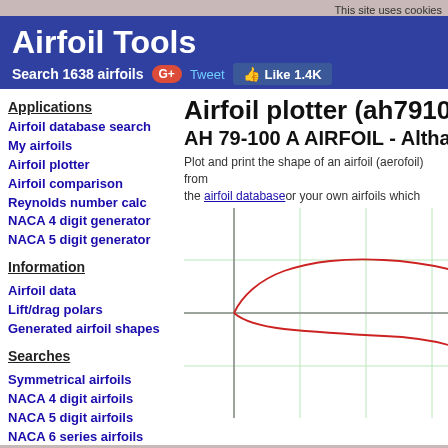This site uses cookies
Airfoil Tools
Search 1638 airfoils
Applications
Airfoil database search
My airfoils
Airfoil plotter
Airfoil comparison
Reynolds number calc
NACA 4 digit generator
NACA 5 digit generator
Information
Airfoil data
Lift/drag polars
Generated airfoil shapes
Searches
Symmetrical airfoils
NACA 4 digit airfoils
NACA 5 digit airfoils
NACA 6 series airfoils
Airfoils A to Z
A a18 to avistar (88)
B b29root to hw3 (22)
Airfoil plotter (ah79100
AH 79-100 A AIRFOIL - Altha
Plot and print the shape of an airfoil (aerofoil) from the airfoil database or your own airfoils which
[Figure (engineering-diagram): Airfoil cross-section plot showing the AH 79-100 A airfoil shape with red upper and lower surface curves on a grid with vertical and horizontal reference lines. The airfoil has a blunt leading edge and tapers to a point at the trailing edge.]